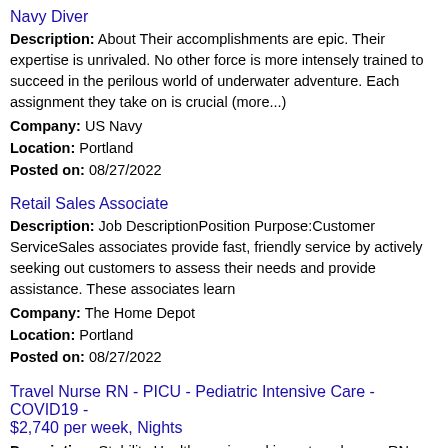Navy Diver
Description: About Their accomplishments are epic. Their expertise is unrivaled. No other force is more intensely trained to succeed in the perilous world of underwater adventure. Each assignment they take on is crucial (more...)
Company: US Navy
Location: Portland
Posted on: 08/27/2022
Retail Sales Associate
Description: Job DescriptionPosition Purpose:Customer ServiceSales associates provide fast, friendly service by actively seeking out customers to assess their needs and provide assistance. These associates learn
Company: The Home Depot
Location: Portland
Posted on: 08/27/2022
Travel Nurse RN - PICU - Pediatric Intensive Care - COVID19 - $2,740 per week, Nights
Description: Stability Healthcare is seeking a travel nurse RN PICU - Pediatric Intensive Care for a travel nursing job in Portland, Maine. Job Description Requirements ul li Specialty: PICU - Pediatric